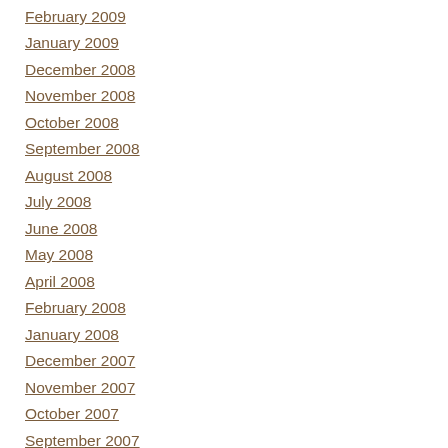February 2009
January 2009
December 2008
November 2008
October 2008
September 2008
August 2008
July 2008
June 2008
May 2008
April 2008
February 2008
January 2008
December 2007
November 2007
October 2007
September 2007
June 2007
May 2007